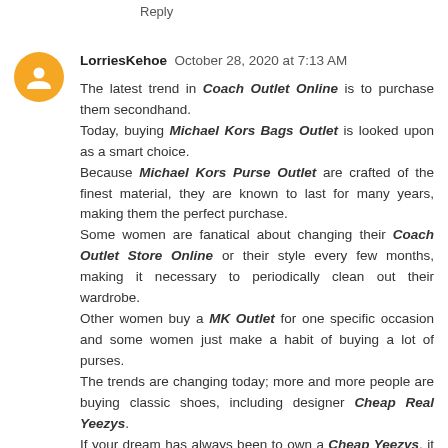Reply
LorriesKehoe  October 28, 2020 at 7:13 AM
The latest trend in Coach Outlet Online is to purchase them secondhand. Today, buying Michael Kors Bags Outlet is looked upon as a smart choice. Because Michael Kors Purse Outlet are crafted of the finest material, they are known to last for many years, making them the perfect purchase. Some women are fanatical about changing their Coach Outlet Store Online or their style every few months, making it necessary to periodically clean out their wardrobe. Other women buy a MK Outlet for one specific occasion and some women just make a habit of buying a lot of purses. The trends are changing today; more and more people are buying classic shoes, including designer Cheap Real Yeezys. If your dream has always been to own a Cheap Yeezys, it is possible in today finding…